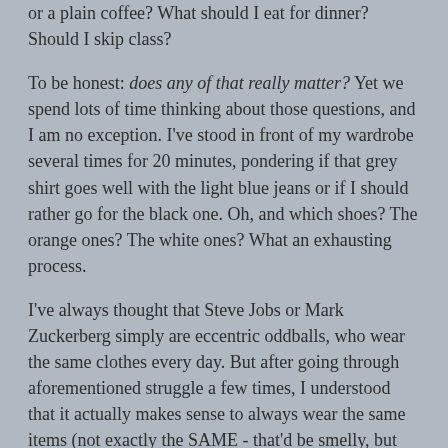or a plain coffee? What should I eat for dinner? Should I skip class?
To be honest: does any of that really matter? Yet we spend lots of time thinking about those questions, and I am no exception. I've stood in front of my wardrobe several times for 20 minutes, pondering if that grey shirt goes well with the light blue jeans or if I should rather go for the black one. Oh, and which shoes? The orange ones? The white ones? What an exhausting process.
I've always thought that Steve Jobs or Mark Zuckerberg simply are eccentric oddballs, who wear the same clothes every day. But after going through aforementioned struggle a few times, I understood that it actually makes sense to always wear the same items (not exactly the SAME - that'd be smelly, but you get the point). After all, it is a decision that you do not have to make every day - and those guys are professionals at it: making decisions is their job. Quite counter-intuitive, isn't it?
That's where "decision energy" comes into play. We only have a certain amount of decision energy every day. Every...